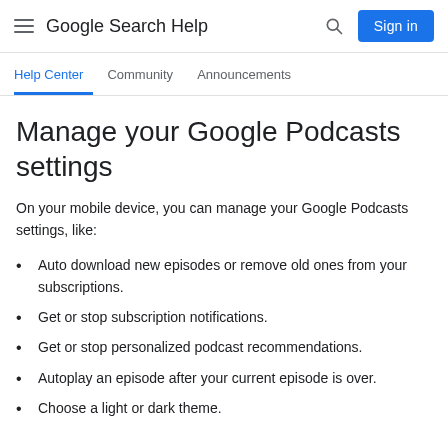Google Search Help
Help Center  Community  Announcements
Manage your Google Podcasts settings
On your mobile device, you can manage your Google Podcasts settings, like:
Auto download new episodes or remove old ones from your subscriptions.
Get or stop subscription notifications.
Get or stop personalized podcast recommendations.
Autoplay an episode after your current episode is over.
Choose a light or dark theme.